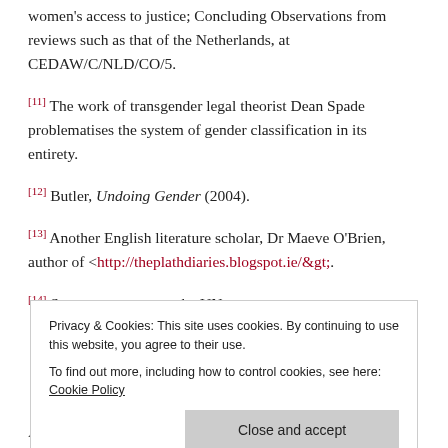women's access to justice; Concluding Observations from reviews such as that of the Netherlands, at CEDAW/C/NLD/CO/5.
[11] The work of transgender legal theorist Dean Spade problematises the system of gender classification in its entirety.
[12] Butler, Undoing Gender (2004).
[13] Another English literature scholar, Dr Maeve O'Brien, author of <http://theplathdiaries.blogspot.ie/&gt;.
[14] See commentary on the UN at
Privacy & Cookies: This site uses cookies. By continuing to use this website, you agree to their use. To find out more, including how to control cookies, see here: Cookie Policy
Act 2016, which applies to all government buildings,